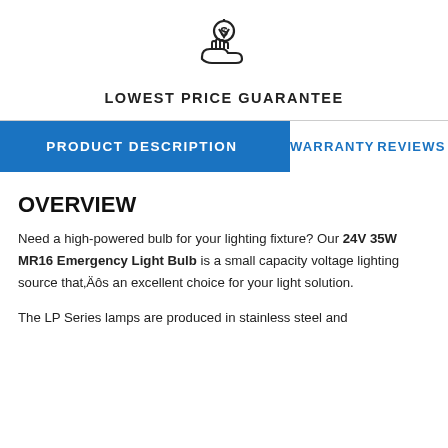[Figure (logo): Hand receiving a dollar coin icon representing Lowest Price Guarantee]
LOWEST PRICE GUARANTEE
PRODUCT DESCRIPTION
WARRANTY
REVIEWS
OVERVIEW
Need a high-powered bulb for your lighting fixture? Our 24V 35W MR16 Emergency Light Bulb is a small capacity voltage lighting source that’s an excellent choice for your light solution.
The LP Series lamps are produced in stainless steel and